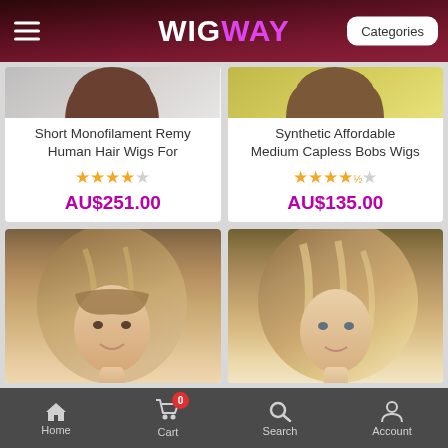WIGWAY — Categories
[Figure (photo): Product card: Short Monofilament Remy Human Hair Wigs For — photo of woman in white shirt, rating 4 stars, price AU$251.00]
[Figure (photo): Product card: Synthetic Affordable Medium Capless Bobs Wigs — photo of woman in yellow shirt, rating 4.5 stars, price AU$135.00]
[Figure (photo): Product card bottom-left: woman with blonde bob wig]
[Figure (photo): Product card bottom-right: woman with highlighted blonde bob wig]
Home   Cart 0   Search   Account